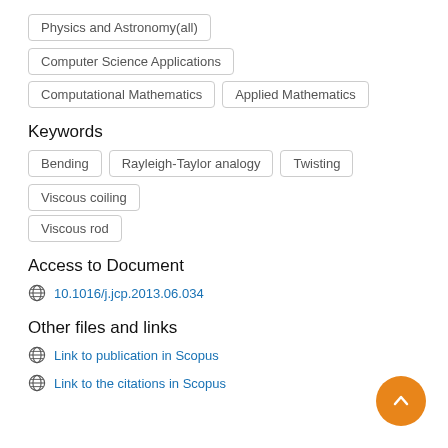Physics and Astronomy(all)
Computer Science Applications
Computational Mathematics
Applied Mathematics
Keywords
Bending
Rayleigh-Taylor analogy
Twisting
Viscous coiling
Viscous rod
Access to Document
10.1016/j.jcp.2013.06.034
Other files and links
Link to publication in Scopus
Link to the citations in Scopus